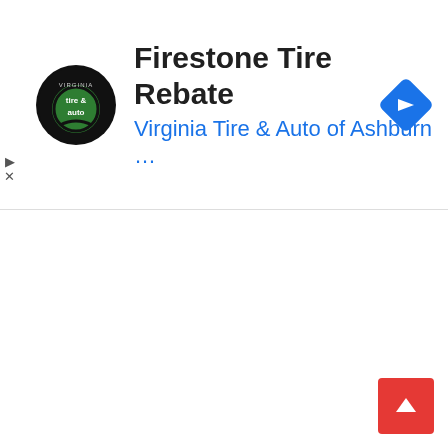[Figure (screenshot): Advertisement banner for Firestone Tire Rebate from Virginia Tire & Auto of Ashburn, showing circular tire & auto logo, bold title text, blue subtitle link, and a blue navigation direction diamond icon on the right]
[Figure (other): Collapse/minimize tab button with upward chevron symbol, positioned below the ad banner]
[Figure (other): Red scroll-to-top button with white upward arrow, positioned at bottom right corner]